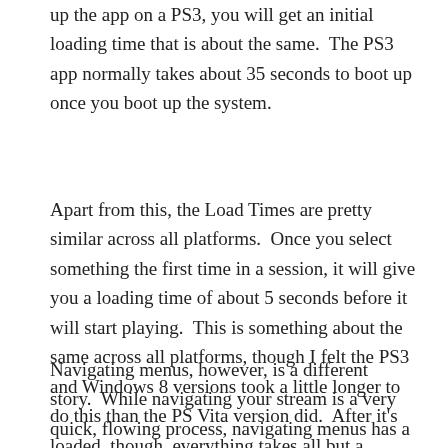up the app on a PS3, you will get an initial loading time that is about the same.  The PS3 app normally takes about 35 seconds to boot up once you boot up the system.
Apart from this, the Load Times are pretty similar across all platforms.  Once you select something the first time in a session, it will give you a loading time of about 5 seconds before it will start playing.  This is something about the same across all platforms, though I felt the PS3 and Windows 8 versions took a little longer to do this than the PS Vita version did.  After it's loaded, though, everything takes all but a second to pause something and go back in.
Navigating menus, however, is a different story.  While navigating your stream is a very quick, flowing process, navigating menus has a bit of lag in it.  When you move through menus, with the buttons or with touch, there will be a small moment of lag before it moves.  Normally, this wouldn't be that noticeable, but it is when the apps